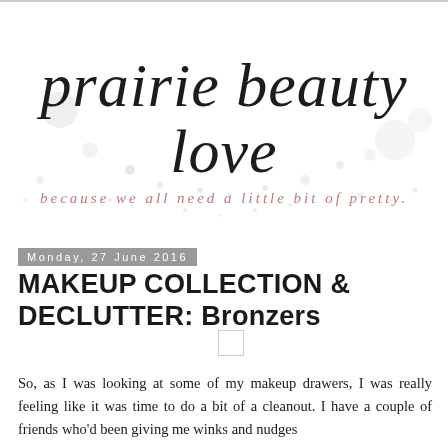[Figure (logo): Prairie Beauty Love blog logo in cursive/italic script with tagline 'because we all need a little bit of pretty.' in pink/rose color, with decorative dot pattern background]
Monday, 27 June 2016
MAKEUP COLLECTION & DECLUTTER: Bronzers
So, as I was looking at some of my makeup drawers, I was really feeling like it was time to do a bit of a cleanout. I have a couple of friends who'd been giving me winks and nudges